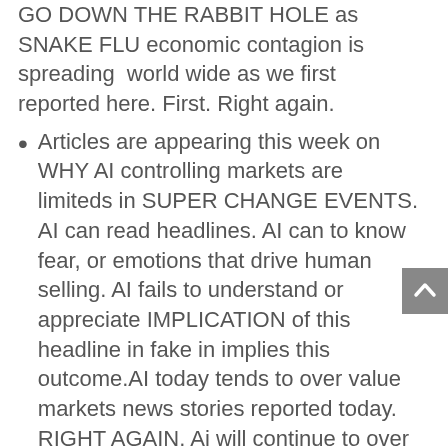GO DOWN THE RABBIT HOLE as SNAKE FLU economic contagion is spreading world wide as we first reported here. First. Right again.
Articles are appearing this week on WHY AI controlling markets are limiteds in SUPER CHANGE EVENTS. AI can read headlines. AI can to know fear, or emotions that drive human selling. AI fails to understand or appreciate IMPLICATION of this headline in fake in implies this outcome.AI today tends to over value markets news stories reported today. RIGHT AGAIN. Ai will continue to over value markets until AI ceases over value. CORRECTIONS IN AI are massive and without warning. Expect MARKET CORRECTION as economic contagion reaches the man markets next. A 30% correction is not out of the likely outcomes.
CDC is preparing AMERICAN CITIES for